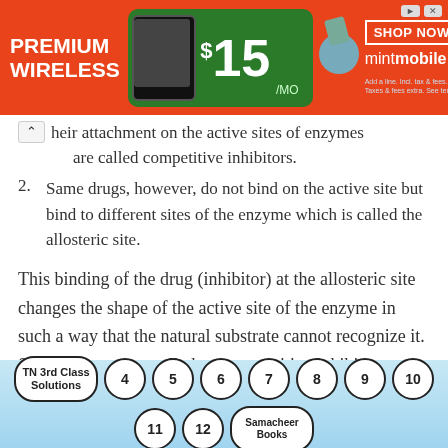[Figure (other): Advertisement banner for Mint Mobile Premium Wireless at $15/mo with 'Shop Now' button]
their attachment on the active sites of enzymes are called competitive inhibitors.
2. Same drugs, however, do not bind on the active site but bind to different sites of the enzyme which is called the allosteric site.
This binding of the drug (inhibitor) at the allosteric site changes the shape of the active site of the enzyme in such a way that the natural substrate cannot recognize it. Such enzymes are called noncompetitive inhibitors.
TN 3rd Class Solutions | 4 | 5 | 6 | 7 | 8 | 9 | 10 | 11 | 12 | Samacheer Books